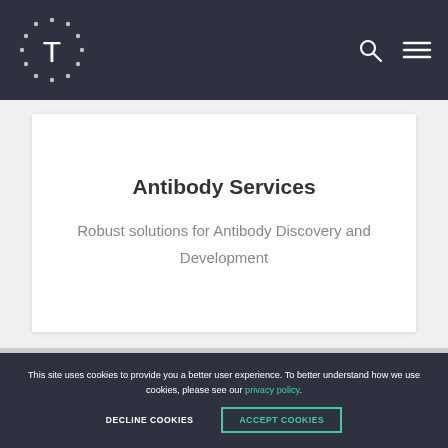T (logo with dots)
Antibody Services
Robust solutions for Antibody Discovery and Development
This site uses cookies to provide you a better user experience. To better understand how we use cookies, please see our privacy policy.
DECLINE COOKIES   ACCEPT COOKIES